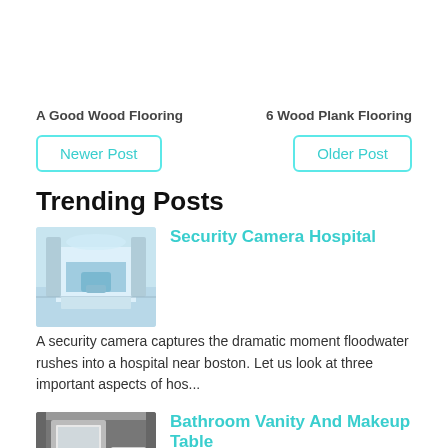A Good Wood Flooring
6 Wood Plank Flooring
Newer Post
Older Post
Trending Posts
[Figure (photo): Hospital operating room with surgical table and medical equipment]
Security Camera Hospital
A security camera captures the dramatic moment floodwater rushes into a hospital near boston. Let us look at three important aspects of hos...
[Figure (photo): White bathroom vanity with marble top]
Bathroom Vanity And Makeup Table
D vanity in white with marble vanity top in carrara